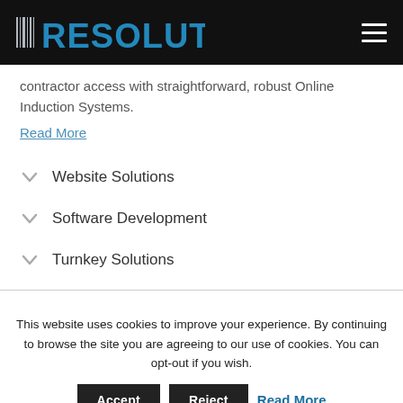RESOLUTION
contractor access with straightforward, robust Online Induction Systems.
Read More
Website Solutions
Software Development
Turnkey Solutions
This website uses cookies to improve your experience. By continuing to browse the site you are agreeing to our use of cookies. You can opt-out if you wish.
Accept   Reject   Read More